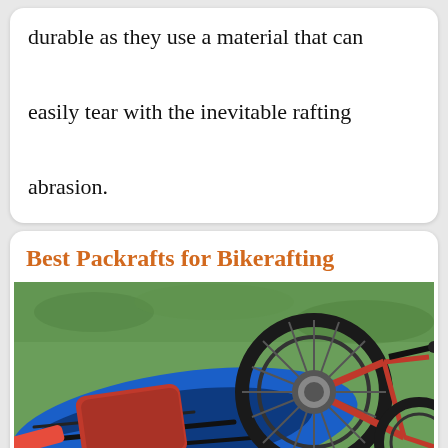durable as they use a material that can easily tear with the inevitable rafting abrasion.
Best Packrafts for Bikerafting
[Figure (photo): A blue packraft with a bicycle loaded inside it, lying on grass. Red gear/bags are visible inside the raft, and bicycle wheels and frame are visible. A red paddle is also present.]